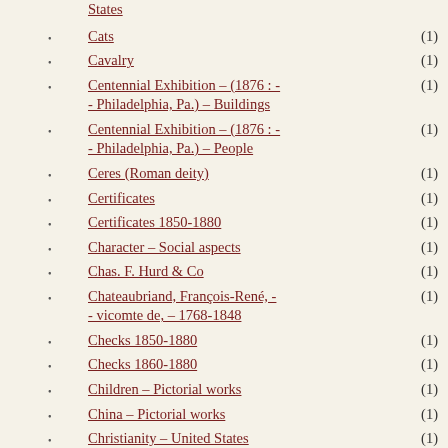States
Cats (1)
Cavalry (1)
Centennial Exhibition – (1876 : - - Philadelphia, Pa.) – Buildings (1)
Centennial Exhibition – (1876 : - - Philadelphia, Pa.) – People (1)
Ceres (Roman deity) (1)
Certificates (1)
Certificates 1850-1880 (1)
Character – Social aspects (1)
Chas. F. Hurd & Co (1)
Chateaubriand, François-René, - - vicomte de, – 1768-1848 (1)
Checks 1850-1880 (1)
Checks 1860-1880 (1)
Children – Pictorial works (1)
China – Pictorial works (1)
Christianity – United States (1)
Chromolithographs (1)